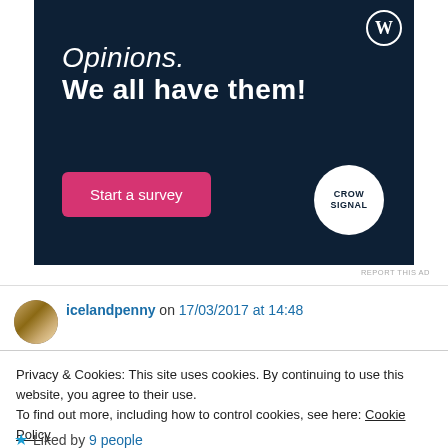[Figure (illustration): WordPress advertisement banner with dark navy background. Shows WordPress logo (W in circle) top right. Text reads 'Opinions. We all have them!' with a pink 'Start a survey' button. CrowdSignal logo in white circle bottom right.]
REPORT THIS AD
icelandpenny on 17/03/2017 at 14:48
Privacy & Cookies: This site uses cookies. By continuing to use this website, you agree to their use.
To find out more, including how to control cookies, see here: Cookie Policy
Close and accept
Liked by 9 people